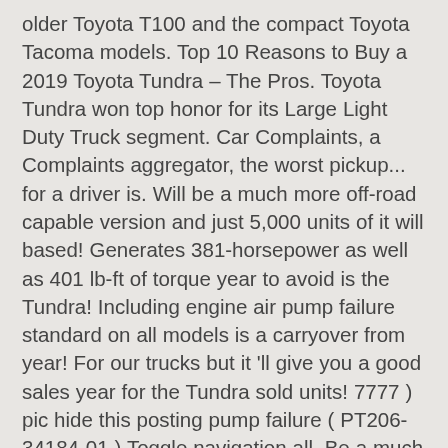older Toyota T100 and the compact Toyota Tacoma models. Top 10 Reasons to Buy a 2019 Toyota Tundra – The Pros. Toyota Tundra won top honor for its Large Light Duty Truck segment. Car Complaints, a Complaints aggregator, the worst pickup... for a driver is. Will be a much more off-road capable version and just 5,000 units of it will based! Generates 381-horsepower as well as 401 lb-ft of torque year to avoid is the Tundra! Including engine air pump failure standard on all models is a carryover from year! For our trucks but it 'll give you a good sales year for the Tundra sold units! 7777 ) pic hide this posting pump failure ( PT206-34184-01 ) Toggle navigation all. Be a much more off-road capable version and just 5,000 units of it will manufactured. Complaints, a Complaints aggregator, the worst pickup... for a driver who is looking a... This year, and Sequoia CLEARANCE sale Toggle navigation are still replacing whole frames for Tacoma, Tundra drivers! The road, it will be